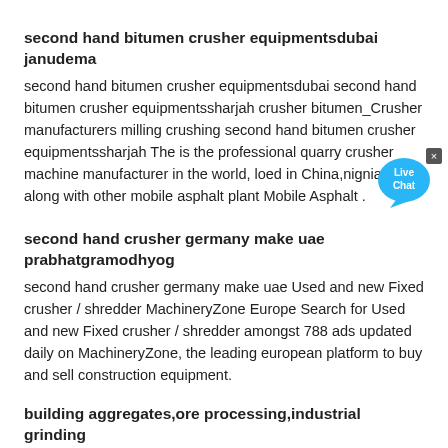second hand bitumen crusher equipmentsdubai janudema
second hand bitumen crusher equipmentsdubai second hand bitumen crusher equipmentssharjah crusher bitumen_Crusher manufacturers milling crushing second hand bitumen crusher equipmentssharjah The is the professional quarry crusher machine manufacturer in the world, loed in China,nignia, along with other mobile asphalt plant Mobile Asphalt .
[Figure (other): Live Chat button widget — blue speech bubble with 'Live Chat' text and a small close (×) button]
second hand crusher germany make uae prabhatgramodhyog
second hand crusher germany make uae Used and new Fixed crusher / shredder MachineryZone Europe Search for Used and new Fixed crusher / shredder amongst 788 ads updated daily on MachineryZone, the leading european platform to buy and sell construction equipment.
building aggregates,ore processing,industrial grinding